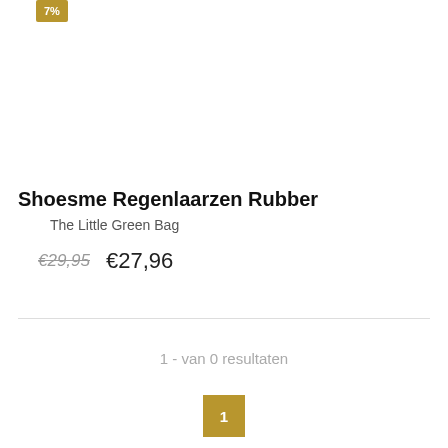[Figure (other): Gold/dark-yellow discount badge partially visible at top left showing percentage off]
Shoesme Regenlaarzen Rubber
The Little Green Bag
€29,95  €27,96
1 - van 0 resultaten
1